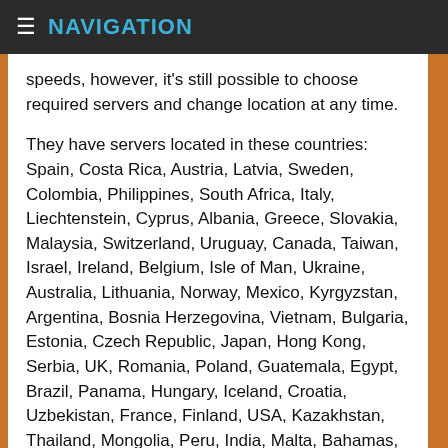NAVIGATION
speeds, however, it's still possible to choose required servers and change location at any time.
They have servers located in these countries: Spain, Costa Rica, Austria, Latvia, Sweden, Colombia, Philippines, South Africa, Italy, Liechtenstein, Cyprus, Albania, Greece, Slovakia, Malaysia, Switzerland, Uruguay, Canada, Taiwan, Israel, Ireland, Belgium, Isle of Man, Ukraine, Australia, Lithuania, Norway, Mexico, Kyrgyzstan, Argentina, Bosnia Herzegovina, Vietnam, Bulgaria, Estonia, Czech Republic, Japan, Hong Kong, Serbia, UK, Romania, Poland, Guatemala, Egypt, Brazil, Panama, Hungary, Iceland, Croatia, Uzbekistan, France, Finland, USA, Kazakhstan, Thailand, Mongolia, Peru, India, Malta, Bahamas, Turkey, Moldova, South Korea, Chile, Russia, Algeria, Ecuador, Georgia, Slovenia, Germany, New Zealand, Indonesia, Netherlands, Portugal, Singapore, Luxembourg, Azerbaijan, Venezuela and Denmark.